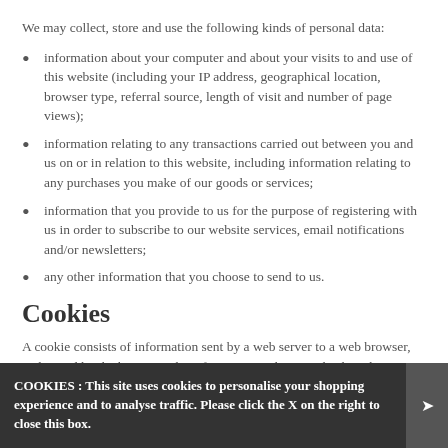We may collect, store and use the following kinds of personal data:
information about your computer and about your visits to and use of this website (including your IP address, geographical location, browser type, referral source, length of visit and number of page views);
information relating to any transactions carried out between you and us on or in relation to this website, including information relating to any purchases you make of our goods or services;
information that you provide to us for the purpose of registering with us in order to subscribe to our website services, email notifications and/or newsletters;
any other information that you choose to send to us.
Cookies
A cookie consists of information sent by a web server to a web browser, and stored by the browser. The information is then sent back to the server each time the browser requests a page from the server. This enables the web server to identify and track the web browser.
COOKIES : This site uses cookies to personalise your shopping experience and to analyse traffic. Please click the X on the right to close this box.